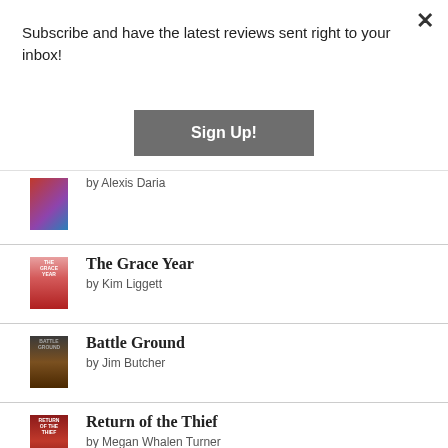Subscribe and have the latest reviews sent right to your inbox!
Sign Up!
by Alexis Daria
The Grace Year
by Kim Liggett
Battle Ground
by Jim Butcher
Return of the Thief
by Megan Whalen Turner